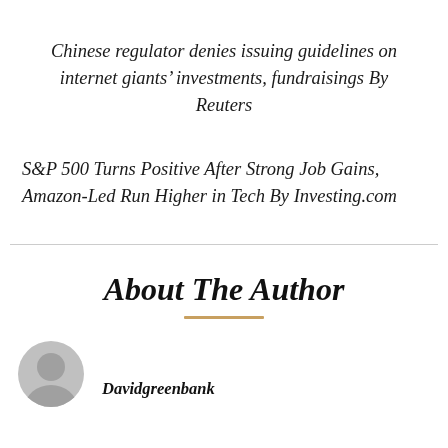Chinese regulator denies issuing guidelines on internet giants' investments, fundraisings By Reuters
S&P 500 Turns Positive After Strong Job Gains, Amazon-Led Run Higher in Tech By Investing.com
About The Author
Davidgreenbank